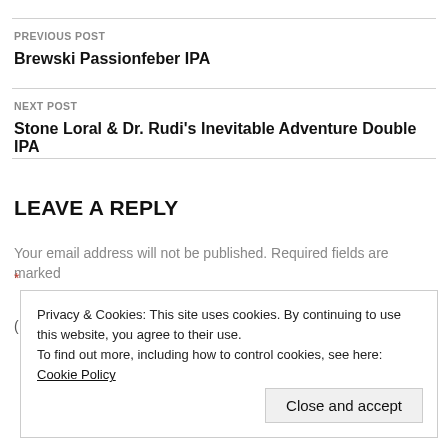PREVIOUS POST
Brewski Passionfeber IPA
NEXT POST
Stone Loral & Dr. Rudi's Inevitable Adventure Double IPA
LEAVE A REPLY
Your email address will not be published. Required fields are marked *
Privacy & Cookies: This site uses cookies. By continuing to use this website, you agree to their use. To find out more, including how to control cookies, see here: Cookie Policy